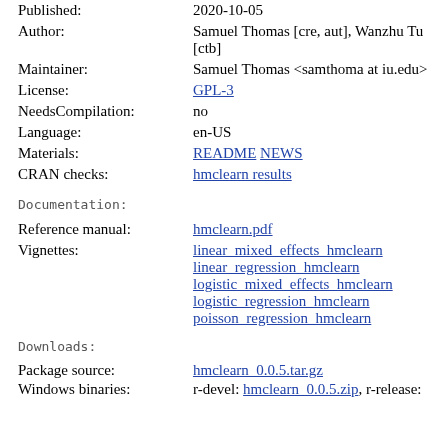| Published: | 2020-10-05 |
| Author: | Samuel Thomas [cre, aut], Wanzhu Tu [ctb] |
| Maintainer: | Samuel Thomas <samthoma at iu.edu> |
| License: | GPL-3 |
| NeedsCompilation: | no |
| Language: | en-US |
| Materials: | README NEWS |
| CRAN checks: | hmclearn results |
Documentation:
| Reference manual: | hmclearn.pdf |
| Vignettes: | linear_mixed_effects_hmclearn
linear_regression_hmclearn
logistic_mixed_effects_hmclearn
logistic_regression_hmclearn
poisson_regression_hmclearn |
Downloads:
| Package source: | hmclearn_0.0.5.tar.gz |
| Windows binaries: | r-devel: hmclearn_0.0.5.zip, r-release: |